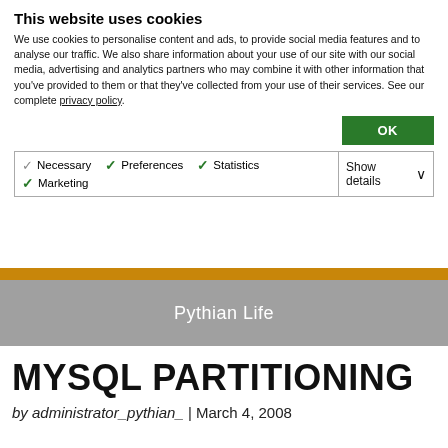This website uses cookies
We use cookies to personalise content and ads, to provide social media features and to analyse our traffic. We also share information about your use of our site with our social media, advertising and analytics partners who may combine it with other information that you’ve provided to them or that they’ve collected from your use of their services. See our complete privacy policy.
| ✓ Necessary  ✓ Preferences  ✓ Statistics
✓ Marketing | Show details ∨ |
Pythian Life
MYSQL PARTITIONING
by administrator_pythian_  |  March 4, 2008